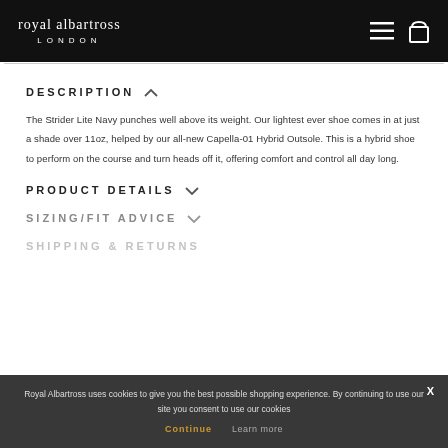royal albartross LONDON
DESCRIPTION
The Strider Lite Navy punches well above its weight. Our lightest ever shoe comes in at just a shade over 11oz, helped by our all-new Capella-01 Hybrid Outsole. This is a hybrid shoe to perform on the course and turn heads off it, offering comfort and control all day long.
PRODUCT DETAILS
SIZING/FIT ADVICE
SHIPPING & RETURNS
Royal Albartross uses cookies to give you the best possible shopping experience. By continuing to use our site you consent to use our cookies